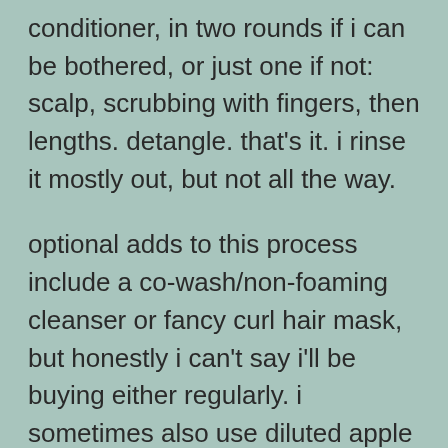conditioner, in two rounds if i can be bothered, or just one if not: scalp, scrubbing with fingers, then lengths. detangle. that's it. i rinse it mostly out, but not all the way.
optional adds to this process include a co-wash/non-foaming cleanser or fancy curl hair mask, but honestly i can't say i'll be buying either regularly. i sometimes also use diluted apple cider vinegar (in an old powerade bottle, lol, just a bit to a bunch of cold water) to degrease and remove any product from my hair, just before conditioner.